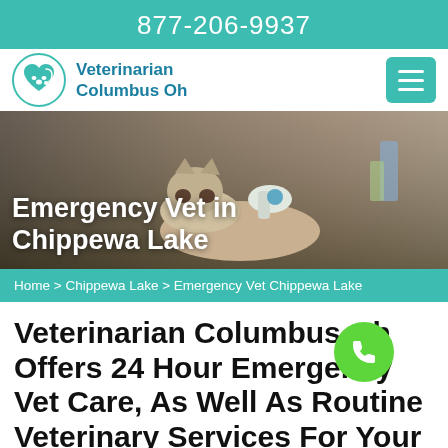877-206-9937
[Figure (logo): Veterinarian Columbus Oh logo with heart and pet silhouette icon, teal color]
[Figure (photo): Hero image of a cat being examined by a veterinarian on a table, with white bold text overlay reading 'Emergency Vet in Chippewa Lake']
Home > Chippewa Lake > Emergency Vet Chippewa Lake
Veterinarian Columbus Oh Offers 24 Hour Emergency Vet Care, As Well As Routine Veterinary Services For Your Pets. Our Special
[Figure (other): Floating green circle phone call button]